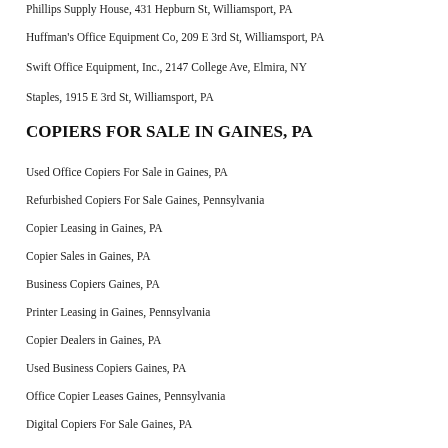Phillips Supply House, 431 Hepburn St, Williamsport, PA
Huffman's Office Equipment Co, 209 E 3rd St, Williamsport, PA
Swift Office Equipment, Inc., 2147 College Ave, Elmira, NY
Staples, 1915 E 3rd St, Williamsport, PA
COPIERS FOR SALE IN GAINES, PA
Used Office Copiers For Sale in Gaines, PA
Refurbished Copiers For Sale Gaines, Pennsylvania
Copier Leasing in Gaines, PA
Copier Sales in Gaines, PA
Business Copiers Gaines, PA
Printer Leasing in Gaines, Pennsylvania
Copier Dealers in Gaines, PA
Used Business Copiers Gaines, PA
Office Copier Leases Gaines, Pennsylvania
Digital Copiers For Sale Gaines, PA
COPIER RENTALS IN GAINES, PENNSYLVANIA